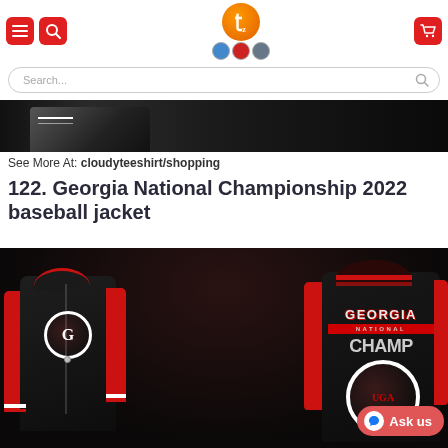Tezostores.com header with hamburger menu, search, logo, and cart
Search...
[Figure (photo): Partial view of a black baseball jacket with white stripes on dark background]
See More At: cloudyteeshirt/shopping
122. Georgia National Championship 2022 baseball jacket
[Figure (photo): Front and back view of Georgia National Championship 2022 black and red varsity/baseball jacket with Georgia text and championship graphics]
Ask us